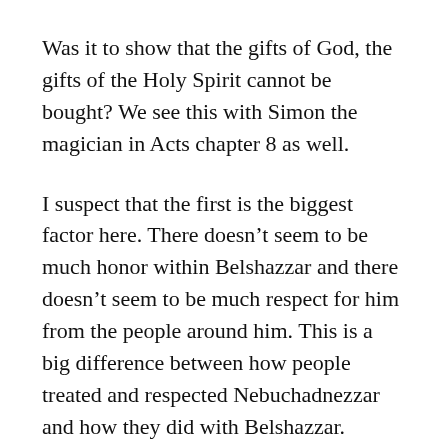Was it to show that the gifts of God, the gifts of the Holy Spirit cannot be bought? We see this with Simon the magician in Acts chapter 8 as well.
I suspect that the first is the biggest factor here. There doesn't seem to be much honor within Belshazzar and there doesn't seem to be much respect for him from the people around him. This is a big difference between how people treated and respected Nebuchadnezzar and how they did with Belshazzar.
As we have seen in the last number of chapters, Nebuchadnezzar was not a perfect man. Not